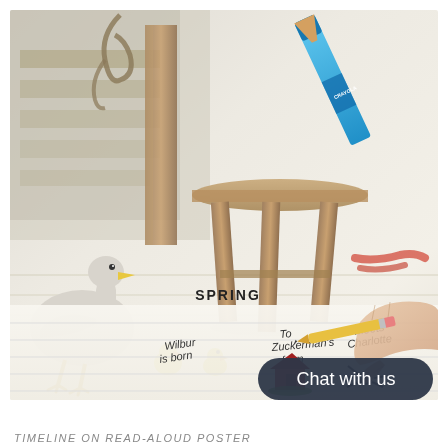[Figure (photo): A photograph of a child's hand drawing/coloring a read-aloud timeline poster. The poster shows 'SPRING' label with a duck/goose, baby chicks, and sections labeled 'Wilbur is born', 'To Zuckerman's farm', and 'Meets Charlotte'. There is a red barn illustration and a spider drawing. A blue crayon and a pencil held by a hand are visible. Crayons are scattered around.]
TIMELINE ON READ-ALOUD POSTER